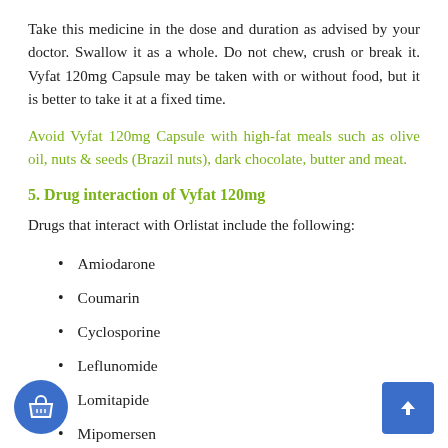Take this medicine in the dose and duration as advised by your doctor. Swallow it as a whole. Do not chew, crush or break it. Vyfat 120mg Capsule may be taken with or without food, but it is better to take it at a fixed time.
Avoid Vyfat 120mg Capsule with high-fat meals such as olive oil, nuts & seeds (Brazil nuts), dark chocolate, butter and meat.
5. Drug interaction of Vyfat 120mg
Drugs that interact with Orlistat include the following:
Amiodarone
Coumarin
Cyclosporine
Leflunomide
Lomitapide
Mipomersen